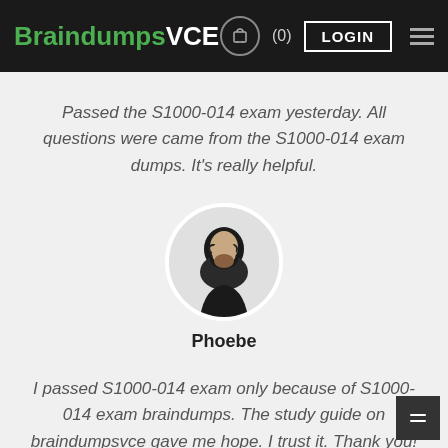BraindumpsVCE (0) LOGIN
Passed the S1000-014 exam yesterday. All questions were came from the S1000-014 exam dumps. It's really helpful.
[Figure (photo): Circular profile photo of a bearded man wearing glasses, smiling, black and white style]
Phoebe
I passed S1000-014 exam only because of S1000-014 exam braindumps. The study guide on braindumpsvce gave me hope. I trust it. Thank you! I made the right decision this time.
[Figure (photo): Circular profile photo of a woman with light curly hair, partially visible at bottom of page]